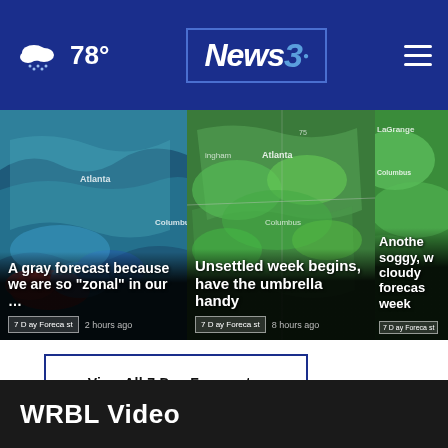78° News 3
[Figure (screenshot): Weather radar card 1: A gray forecast because we are so "zonal" in our ... | 7 Day Forecast | 2 hours ago]
[Figure (screenshot): Weather radar card 2: Unsettled week begins, have the umbrella handy | 7 Day Forecast | 8 hours ago]
[Figure (screenshot): Weather radar card 3: Another soggy, w... cloudy forecas... week | 7 Day Forecast]
View All 7 Day Forecast ›
WRBL Video